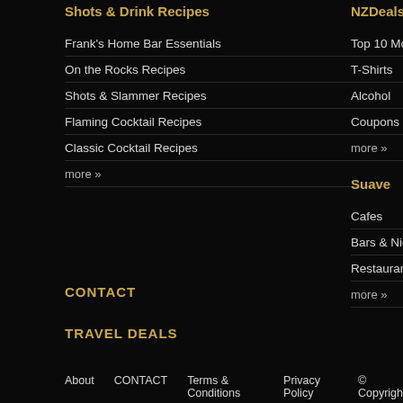Shots & Drink Recipes
Frank's Home Bar Essentials
On the Rocks Recipes
Shots & Slammer Recipes
Flaming Cocktail Recipes
Classic Cocktail Recipes
more »
NZDeals
Top 10 Most Discounted
T-Shirts
Alcohol
Coupons
more »
Suave
Cafes
Bars & Nightclubs
Restaurants
more »
CONTACT
TRAVEL DEALS
About   CONTACT   Terms & Conditions   Privacy Policy   © Copyright